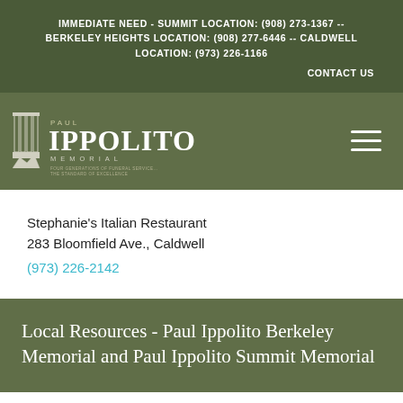IMMEDIATE NEED - SUMMIT LOCATION: (908) 273-1367 -- BERKELEY HEIGHTS LOCATION: (908) 277-6446 -- CALDWELL LOCATION: (973) 226-1166
CONTACT US
[Figure (logo): Paul Ippolito Memorial funeral home logo with column graphic]
Stephanie's Italian Restaurant
283 Bloomfield Ave., Caldwell
(973) 226-2142
Local Resources - Paul Ippolito Berkeley Memorial and Paul Ippolito Summit Memorial